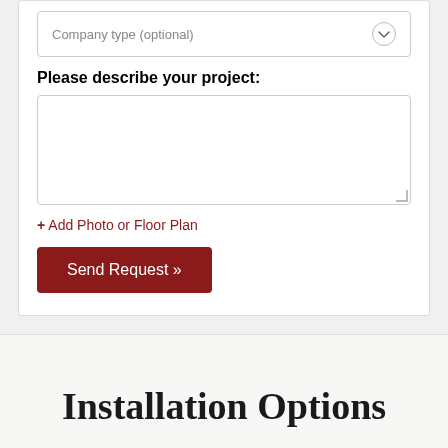Company type (optional)
Please describe your project:
[Figure (screenshot): Empty textarea input field for project description]
+ Add Photo or Floor Plan
Send Request »
Installation Options